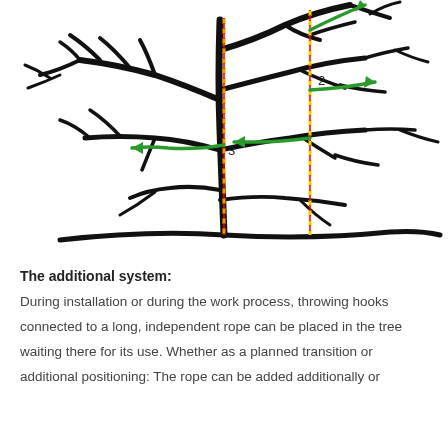[Figure (illustration): Diagram of a tree with branches. Two dashed yellow-red vertical lines hang from upper branches to the ground, labeled with numbers 2 and 3. Green curved arrows indicate directions of movement or rope placement. Arrow 2 points upward-right at top right. Arrow labeled 3 curves to the left mid-tree. Another green arrow points left near center.]
The additional system:
During installation or during the work process, throwing hooks connected to a long, independent rope can be placed in the tree waiting there for its use. Whether as a planned transition or additional positioning: The rope can be added additionally or